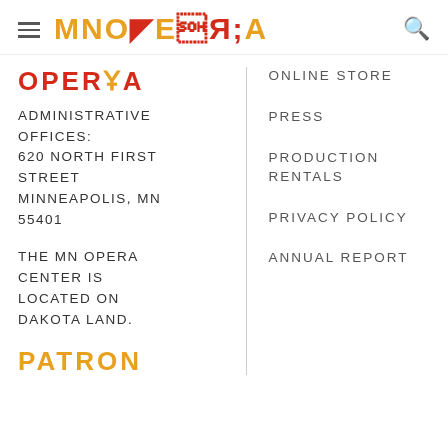MNOPERA
OPERA
ADMINISTRATIVE OFFICES:
620 NORTH FIRST STREET
MINNEAPOLIS, MN 55401
THE MN OPERA CENTER IS LOCATED ON DAKOTA LAND.
PATRON
ONLINE STORE
PRESS
PRODUCTION RENTALS
PRIVACY POLICY
ANNUAL REPORT